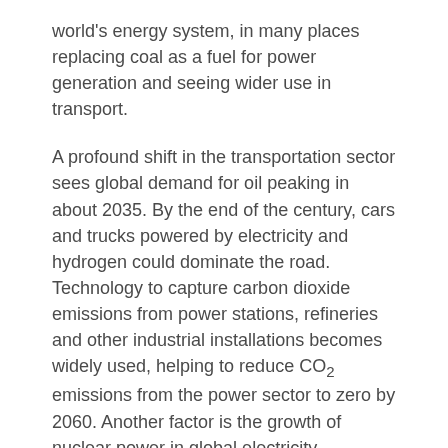world's energy system, in many places replacing coal as a fuel for power generation and seeing wider use in transport.
A profound shift in the transportation sector sees global demand for oil peaking in about 2035. By the end of the century, cars and trucks powered by electricity and hydrogen could dominate the road. Technology to capture carbon dioxide emissions from power stations, refineries and other industrial installations becomes widely used, helping to reduce CO₂ emissions from the power sector to zero by 2060. Another factor is the growth of nuclear power in global electricity generation. Its market share increases by around 25% in the period to 2060.
With these changes to the energy system